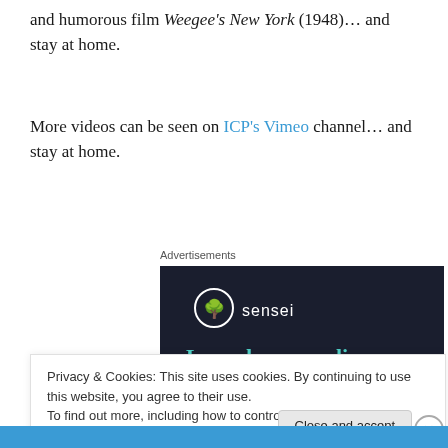and humorous film Weegee's New York (1948)… and stay at home.
More videos can be seen on ICP's Vimeo channel… and stay at home.
[Figure (screenshot): Dark advertisement banner for Sensei with logo and text: Launch your online course with WordPress]
Privacy & Cookies: This site uses cookies. By continuing to use this website, you agree to their use.
To find out more, including how to control cookies, see here: Cookie Policy